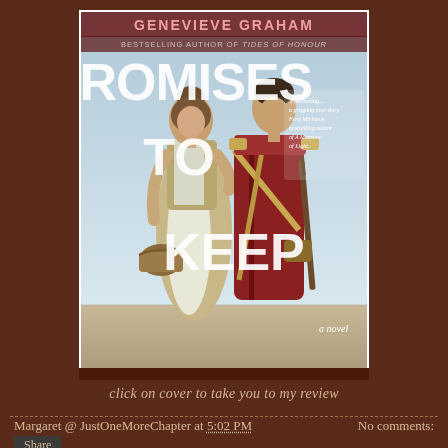[Figure (illustration): Book cover of 'Promises to Keep' by Genevieve Graham. Shows two figures from behind — a woman in colonial dress with apron holding a basket, and a man in a red military coat holding a musket. Text on cover: 'GENEVIEVE GRAHAM', 'BESTSELLING AUTHOR OF TIDES OF HONOUR', 'PROMISES TO KEEP', 'a novel', quote: 'Fascinating... a gripping love story.' Fern Michaels, bestselling author of A Measure of Light.]
click on cover to take you to my review
Margaret @ JustOneMoreChapter at 5:02 PM   No comments:
Share